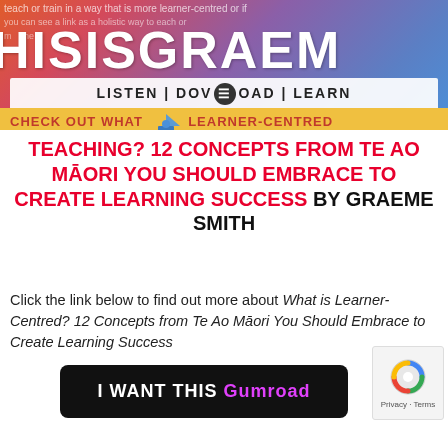[Figure (screenshot): Website banner for 'This Is Graeme' with colourful gradient background, site title, tagline bar reading LISTEN | DOWNLOAD | LEARN, and a CHECK OUT WHAT LEARNER-CENTRED bar below]
TEACHING? 12 CONCEPTS FROM TE AO MĀORI YOU SHOULD EMBRACE TO CREATE LEARNING SUCCESS BY GRAEME SMITH
Click the link below to find out more about What is Learner-Centred? 12 Concepts from Te Ao Māori You Should Embrace to Create Learning Success
[Figure (screenshot): Black rounded button reading I WANT THIS Gumroad]
[Figure (screenshot): reCAPTCHA widget showing blue/grey circular logo and Privacy · Terms text]